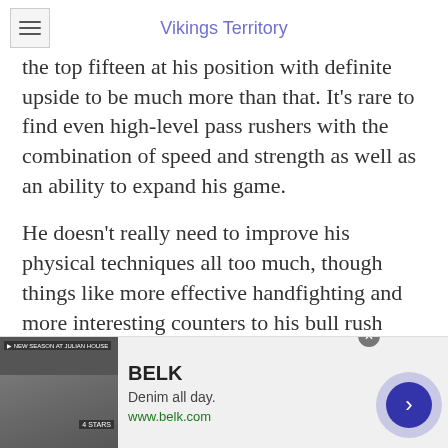Vikings Territory
the top fifteen at his position with definite upside to be much more than that. It's rare to find even high-level pass rushers with the combination of speed and strength as well as an ability to expand his game.
He doesn't really need to improve his physical techniques all too much, though things like more effective handfighting and more interesting counters to his bull rush would be very useful, and the mental game of setting up an offensive lineman to take advantage of him later will be critical.
[Figure (screenshot): Advertisement banner for BELK with tagline 'Denim all day.' and URL www.belk.com, showing fashion images on left and navigation arrow on right]